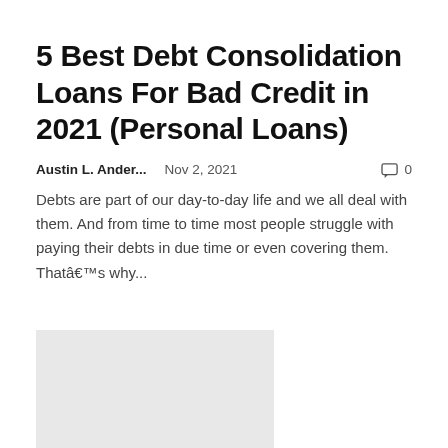5 Best Debt Consolidation Loans For Bad Credit in 2021 (Personal Loans)
Austin L. Ander...    Nov 2, 2021    0
Debts are part of our day-to-day life and we all deal with them. And from time to time most people struggle with paying their debts in due time or even covering them. Thatâ€™s why...
[Figure (other): Gray placeholder image block at the bottom left of the page]